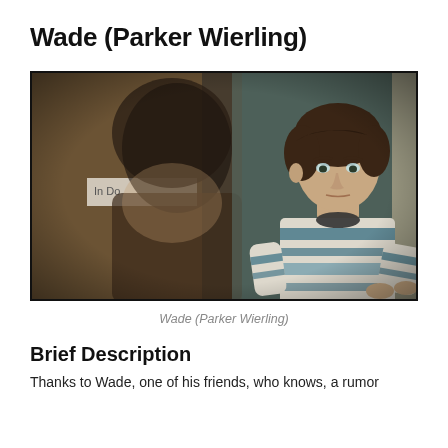Wade (Parker Wierling)
[Figure (photo): A young teenage boy with brown hair wearing a striped sweater, arms crossed, looking intensely at someone in the foreground who is out of focus. Scene appears to be in a school hallway with a sign partially visible reading 'In Do...' Background is muted teal/green. The foreground figure has dark hair and is blurred.]
Wade (Parker Wierling)
Brief Description
Thanks to Wade, one of his friends, who knows, a rumor